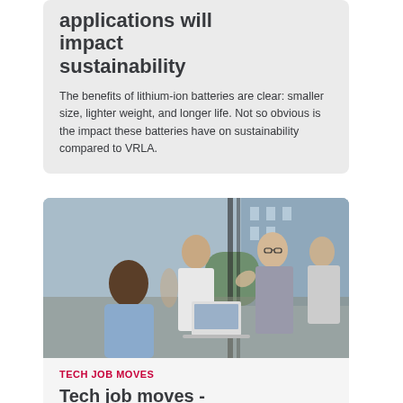applications will impact sustainability
The benefits of lithium-ion batteries are clear: smaller size, lighter weight, and longer life. Not so obvious is the impact these batteries have on sustainability compared to VRLA.
[Figure (photo): Group of four professionals having a discussion in an office/meeting area near large windows. One woman with glasses appears to be speaking and gesturing.]
TECH JOB MOVES
Tech job moves - Pl...